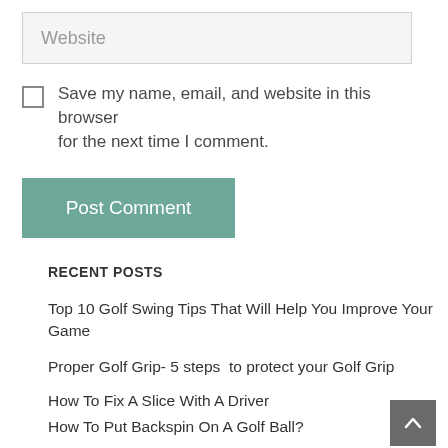Website
Save my name, email, and website in this browser for the next time I comment.
Post Comment
RECENT POSTS
Top 10 Golf Swing Tips That Will Help You Improve Your Game
Proper Golf Grip- 5 steps  to protect your Golf Grip
How To Fix A Slice With A Driver
How To Put Backspin On A Golf Ball?
How to hit a draw? Step By Step Guide To Hitting A